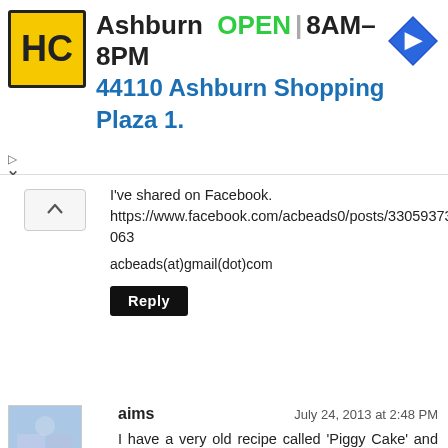[Figure (infographic): Ad banner for HC (Haverty's/Hardware store) showing logo, Ashburn location, OPEN hours 8AM-8PM, address 44110 Ashburn Shopping Plaza 1., with a blue navigation arrow icon]
I've shared on Facebook.
https://www.facebook.com/acbeads0/posts/330593730408063

acbeads(at)gmail(dot)com
Reply
aims
July 24, 2013 at 2:48 PM
I have a very old recipe called 'Piggy Cake' and it's called that because you can't eat enough of it! I bet that's very similar to those Piggy Beads - once you try them - you can't get enough of them!

Yes - it's me again Pearl ~

Aims @